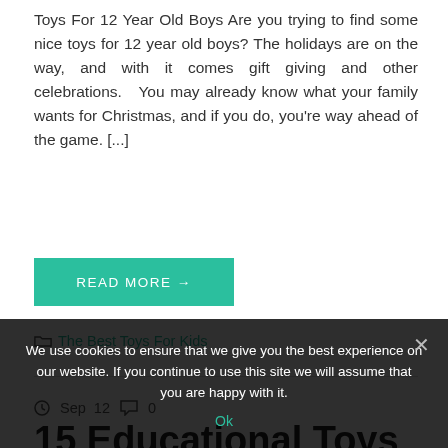Toys For 12 Year Old Boys Are you trying to find some nice toys for 12 year old boys? The holidays are on the way, and with it comes gift giving and other celebrations.   You may already know what your family wants for Christmas, and if you do, you're way ahead of the game. [...]
READ MORE →
The Best Toys For Kids
Sep  12   0
15 Educational Toys
We use cookies to ensure that we give you the best experience on our website. If you continue to use this site we will assume that you are happy with it.
Ok